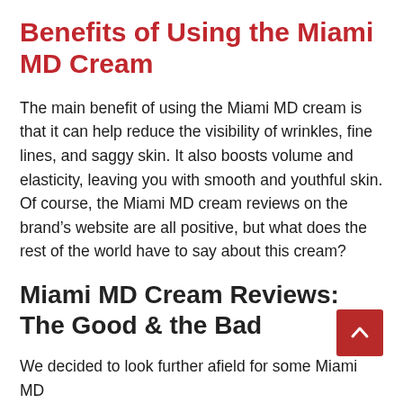Benefits of Using the Miami MD Cream
The main benefit of using the Miami MD cream is that it can help reduce the visibility of wrinkles, fine lines, and saggy skin. It also boosts volume and elasticity, leaving you with smooth and youthful skin. Of course, the Miami MD cream reviews on the brand's website are all positive, but what does the rest of the world have to say about this cream?
Miami MD Cream Reviews: The Good & the Bad
We decided to look further afield for some Miami MD